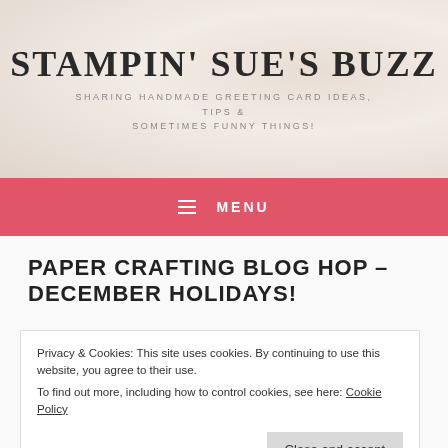STAMPIN' SUE'S BUZZ
SHARING HANDMADE GREETING CARD IDEAS, TIPS & SOMETIMES FUNNY THINGS!
☰ MENU
PAPER CRAFTING BLOG HOP – DECEMBER HOLIDAYS!
Privacy & Cookies: This site uses cookies. By continuing to use this website, you agree to their use.
To find out more, including how to control cookies, see here: Cookie Policy
Close and accept